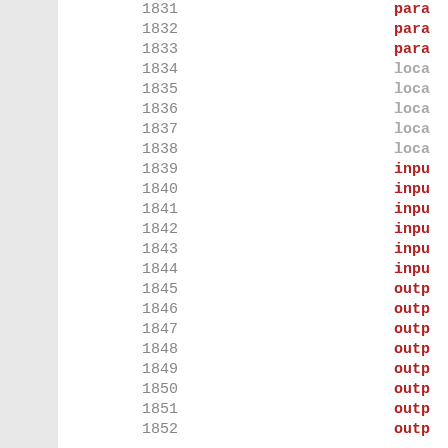| line | spacer | keyword |
| --- | --- | --- |
| 1831 |  | param |
| 1832 |  | param |
| 1833 |  | param |
| 1834 |  | loca |
| 1835 |  | loca |
| 1836 |  | loca |
| 1837 |  | loca |
| 1838 |  | loca |
| 1839 |  | input |
| 1840 |  | input |
| 1841 |  | input |
| 1842 |  | input |
| 1843 |  | input |
| 1844 |  | input |
| 1845 |  | output |
| 1846 |  | output |
| 1847 |  | output |
| 1848 |  | output |
| 1849 |  | output |
| 1850 |  | output |
| 1851 |  | output |
| 1852 |  | output |